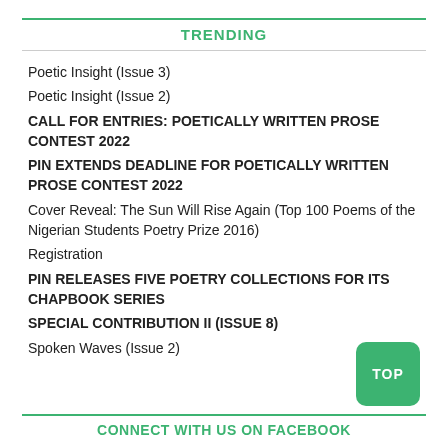TRENDING
Poetic Insight (Issue 3)
Poetic Insight (Issue 2)
CALL FOR ENTRIES: POETICALLY WRITTEN PROSE CONTEST 2022
PIN EXTENDS DEADLINE FOR POETICALLY WRITTEN PROSE CONTEST 2022
Cover Reveal: The Sun Will Rise Again (Top 100 Poems of the Nigerian Students Poetry Prize 2016)
Registration
PIN RELEASES FIVE POETRY COLLECTIONS FOR ITS CHAPBOOK SERIES
SPECIAL CONTRIBUTION II (ISSUE 8)
Spoken Waves (Issue 2)
CONNECT WITH US ON FACEBOOK